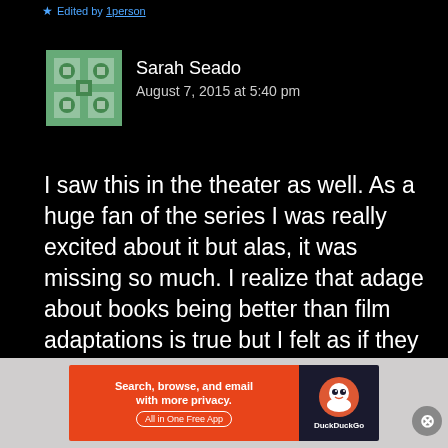Edited by 1person
Sarah Seado
August 7, 2015 at 5:40 pm
I saw this in the theater as well. As a huge fan of the series I was really excited about it but alas, it was missing so much. I realize that adage about books being better than film adaptations is true but I felt as if they barely tried to capture the excitement from the series. It was definitely a flop. 😒
[Figure (infographic): DuckDuckGo advertisement banner: Search, browse, and email with more privacy. All in One Free App. DuckDuckGo logo on dark background.]